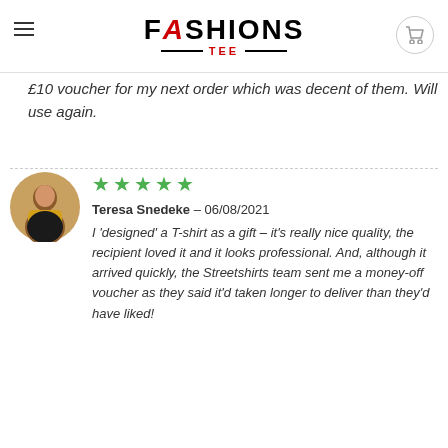FASHIONS TEE
£10 voucher for my next order which was decent of them. Will use again.
Teresa Snedeke – 06/08/2021
I 'designed' a T-shirt as a gift – it's really nice quality, the recipient loved it and it looks professional. And, although it arrived quickly, the Streetshirts team sent me a money-off voucher as they said it'd taken longer to deliver than they'd have liked!